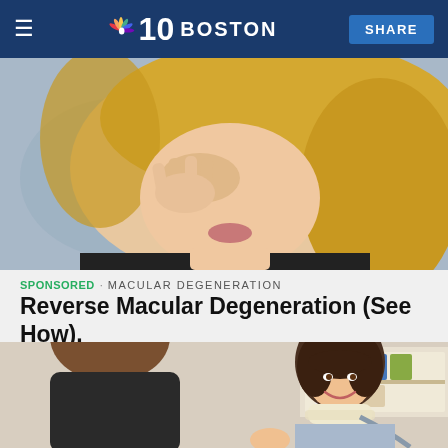NBC 10 BOSTON
[Figure (photo): Close-up of a blonde woman touching her eye/face with her hand, wearing a black top, blurred background]
SPONSORED · MACULAR DEGENERATION
Reverse Macular Degeneration (See How).
[Figure (photo): A woman with dark hair wearing a neck brace and arm sling, sitting across from another person in an office or consultation setting, with bookshelves in the background]